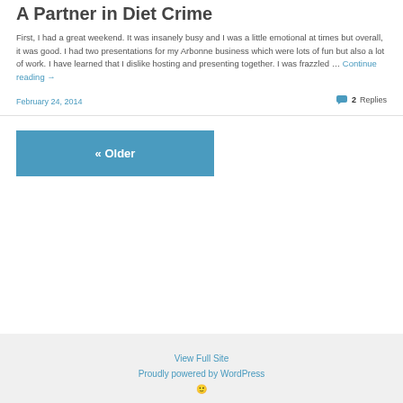A Partner in Diet Crime
First, I had a great weekend.  It was insanely busy and I was a little emotional at times but overall, it was good. I had two presentations for my Arbonne business which were lots of fun but also a lot of work.  I have learned that I dislike hosting and presenting together.  I was frazzled … Continue reading →
February 24, 2014
2 Replies
« Older
View Full Site
Proudly powered by WordPress
:)